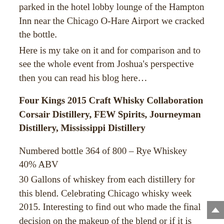parked in the hotel lobby lounge of the Hampton Inn near the Chicago O-Hare Airport we cracked the bottle.
Here is my take on it and for comparison and to see the whole event from Joshua's perspective then you can read his blog here…
Four Kings 2015 Craft Whisky Collaboration Corsair Distillery, FEW Spirits, Journeyman Distillery, Mississippi Distillery
Numbered bottle 364 of 800 – Rye Whiskey 40% ABV
30 Gallons of whiskey from each distillery for this blend. Celebrating Chicago whisky week 2015. Interesting to find out who made the final decision on the makeup of the blend or if it is just four equal parts from the four distilleries which would be